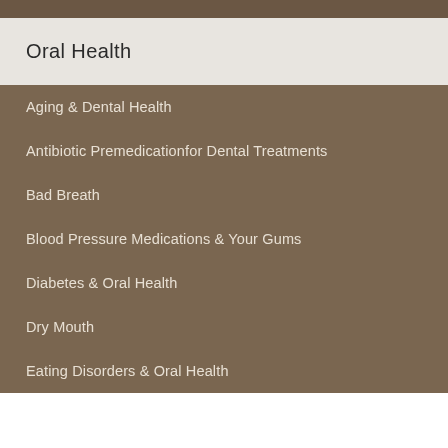Oral Health
Aging & Dental Health
Antibiotic Premedicationfor Dental Treatments
Bad Breath
Blood Pressure Medications & Your Gums
Diabetes & Oral Health
Dry Mouth
Eating Disorders & Oral Health